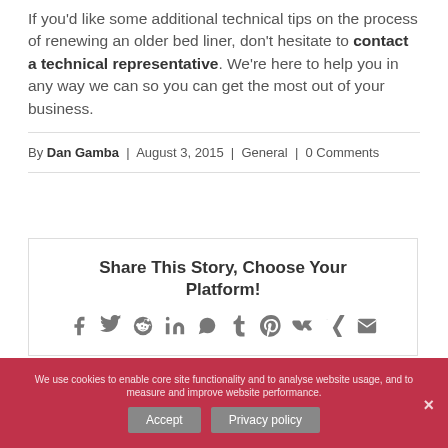If you'd like some additional technical tips on the process of renewing an older bed liner, don't hesitate to contact a technical representative. We're here to help you in any way we can so you can get the most out of your business.
By Dan Gamba | August 3, 2015 | General | 0 Comments
Share This Story, Choose Your Platform!
We use cookies to enable core site functionality and to analyse website usage, and to measure and improve website performance.
Accept  Privacy policy